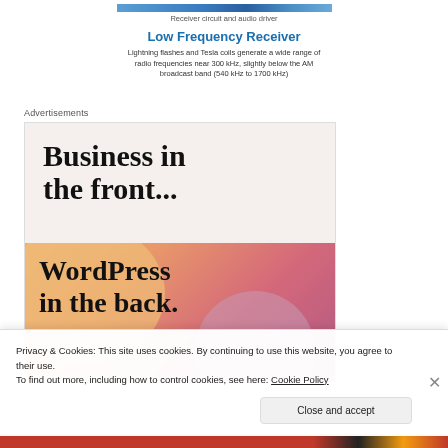[Figure (screenshot): Horizontal bar image representing a receiver circuit and audio driver]
Receiver circuit and audio driver
Low Frequency Receiver
Lightning flashes and Tesla coils generate a wide range of radio frequencies near 300 kHz, slightly below the AM broadcast band (540 kHz to 1700 kHz)
Advertisements
[Figure (illustration): Advertisement with text 'Business in the front...' on light beige background and 'WordPress in the back.' on colorful orange/pink gradient background]
Privacy & Cookies: This site uses cookies. By continuing to use this website, you agree to their use.
To find out more, including how to control cookies, see here: Cookie Policy
Close and accept